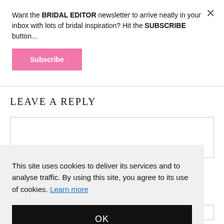Want the BRIDAL EDITOR newsletter to arrive neatly in your inbox with lots of bridal inspiration? Hit the SUBSCRIBE button...
Subscribe
LEAVE A REPLY
This site uses cookies to deliver its services and to analyse traffic. By using this site, you agree to its use of cookies. Learn more
OK
Search...